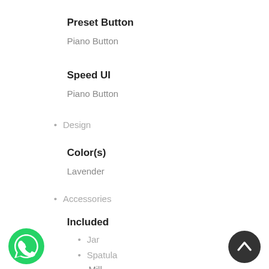Preset Button
Piano Button
Speed UI
Piano Button
Design
Color(s)
Lavender
Accessories
Included
Jar
Spatula
Mill